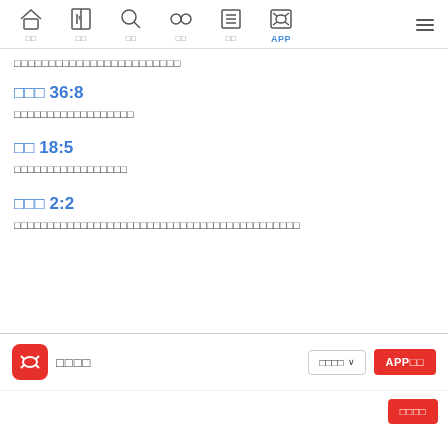Navigation bar with home, bible, search, compare, list, APP icons
□□□□□□□□□□□□□□□□□□□□□□□□
□□□ 36:8
□□□□□□□□□□□□□□□□□□
□□ 18:5
□□□□□□□□□□□□□□□□□
□□□ 2:2
□□□□□□□□□□□□□□□□□□□□□□□□□□□□□□□□□□□□□□□□□□□
□□□□ | □□□□ ∨ | APP□□